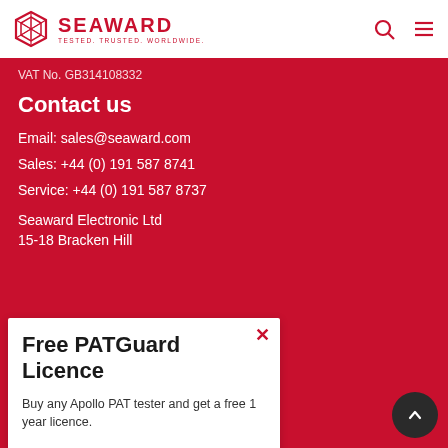[Figure (logo): Seaward logo with hexagonal cube icon and text SEAWARD TESTED. TRUSTED. WORLDWIDE.]
VAT No. GB314108332
Contact us
Email: sales@seaward.com
Sales: +44 (0) 191 587 8741
Service: +44 (0) 191 587 8737
Seaward Electronic Ltd
15-18 Bracken Hill
Free PATGuard Licence
Buy any Apollo PAT tester and get a free 1 year licence.
Find out more